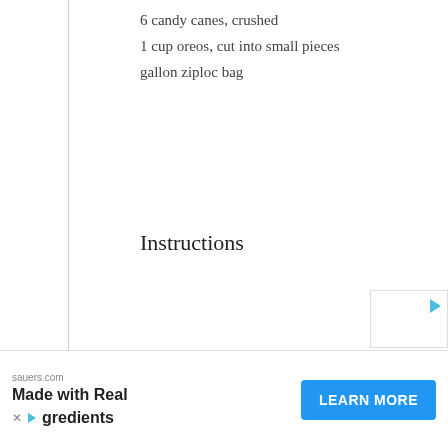6 candy canes, crushed
1 cup oreos, cut into small pieces
gallon ziploc bag
Instructions
[Figure (other): Advertisement for Kernel Season's popcorn toppings. Heading: 'Your Favorite Popcorn Toppings'. Subheading: 'Find in Store or Buy Online'. Body: 'Kernel Season's® is America's #1 brand of popcorn seasoning.']
[Figure (other): Bottom advertisement bar from sauers.com: 'Made with Real Ingredients' with a Learn More button.]